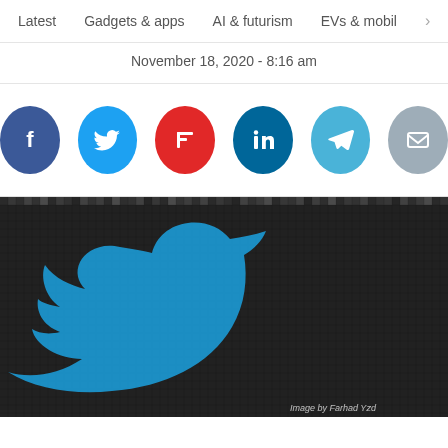Latest   Gadgets & apps   AI & futurism   EVs & mobil  >
November 18, 2020 - 8:16 am
[Figure (infographic): Social share buttons: Facebook (blue), Twitter (light blue), Flipboard (red), LinkedIn (dark blue), Telegram (cyan), Email (grey)]
[Figure (photo): Twitter bird logo made from a mosaic of black-and-white smaller images, with the bird shape highlighted in blue. Watermark reads 'Image by Farhad Yzd'.]